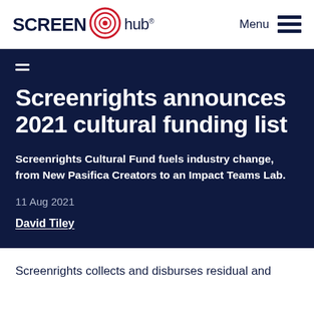SCREEN hub
Screenrights announces 2021 cultural funding list
Screenrights Cultural Fund fuels industry change, from New Pasifica Creators to an Impact Teams Lab.
11 Aug 2021
David Tiley
Screenrights collects and disburses residual and